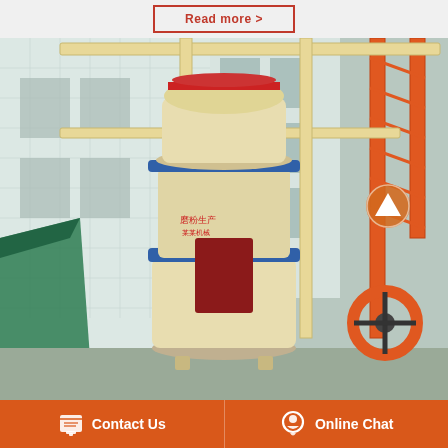[Figure (other): Red-outlined 'Read more >' button on light gray background]
[Figure (photo): Industrial grinding/milling machine (Raymond mill or similar) photographed outdoors in a factory yard. The machine is cream/beige colored with blue and red accents, supported by a metal frame structure with yellow beams. An orange crane lattice is visible on the right. A green tarpaulin and industrial equipment are visible in the background. A circular orange scroll-up navigation button is overlaid on the right side of the image.]
Contact Us
Online Chat